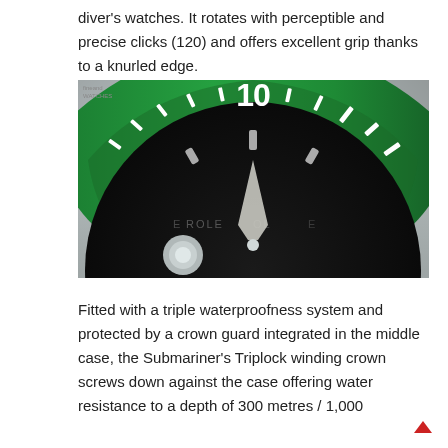diver's watches. It rotates with perceptible and precise clicks (120) and offers excellent grip thanks to a knurled edge.
[Figure (photo): Close-up photograph of a Rolex Submariner watch face with a green ceramic bezel showing the number 10, the black dial with hour markers, and the winding crown in the foreground. A watermark reading 'fineand watches' appears in the top-left corner.]
Fitted with a triple waterproofness system and protected by a crown guard integrated in the middle case, the Submariner's Triplock winding crown screws down against the case offering water resistance to a depth of 300 metres / 1,000